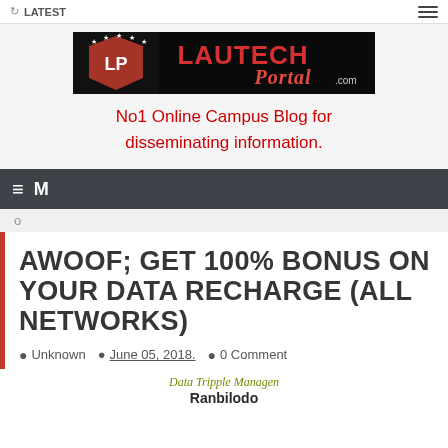LATEST
[Figure (logo): LAUTECH Portal logo banner — black background with red LP emblem on left and red/white LAUTECH Portal.com text on right]
No1 Online Campus Blog for disseminating information.
M
o
AWOOF; GET 100% BONUS ON YOUR DATA RECHARGE (ALL NETWORKS)
Unknown  June 05, 2018.  0 Comment
Data Tripple Manager / Banbileda